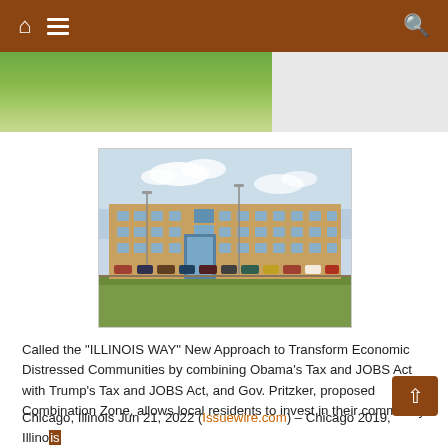Navigation bar with home, menu, and search icons
[Figure (photo): Partial grassy landscape photo cropped at top of page]
[Figure (photo): Exterior photo of a large brick institutional building with parking lot and grass in foreground]
Called the "ILLINOIS WAY" New Approach to Transform Economic Distressed Communities by combining Obama's Tax and JOBS Act with Trump's Tax and JOBS Act, and Gov. Pritzker, proposed Combination Zone, allows local residents to invest in their community
Chicago, Illinois Jun 21, 2022 (Issuewire.com) – Chicago 2019, Illinois ABE FUND (Illinois America Black Economy Fund) is a Federal